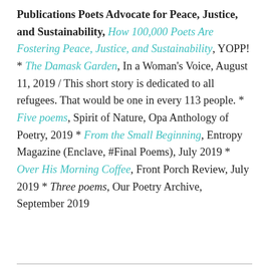Publications Poets Advocate for Peace, Justice, and Sustainability, How 100,000 Poets Are Fostering Peace, Justice, and Sustainability, YOPP! * The Damask Garden, In a Woman's Voice, August 11, 2019 / This short story is dedicated to all refugees. That would be one in every 113 people. * Five poems, Spirit of Nature, Opa Anthology of Poetry, 2019 * From the Small Beginning, Entropy Magazine (Enclave, #Final Poems), July 2019 * Over His Morning Coffee, Front Porch Review, July 2019 * Three poems, Our Poetry Archive, September 2019